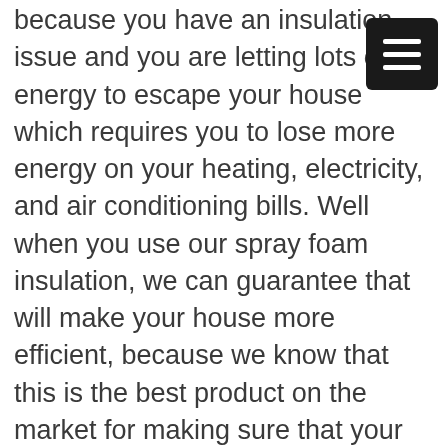because you have an insulation issue and you are letting lots of energy to escape your house which requires you to lose more energy on your heating, electricity, and air conditioning bills. Well when you use our spray foam insulation, we can guarantee that will make your house more efficient, because we know that this is the best product on the market for making sure that your house is properly insulated.
Not only will help you save money in the long run, of the thousands of dollars, but it is also going to work to make your house more comfortable as well. If you are noticing that it is hard to regulate your attention in your house, and you need to give some installation services. This